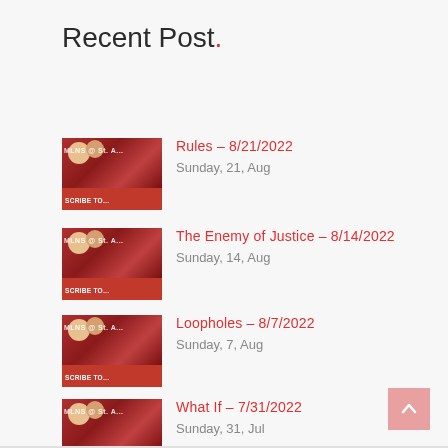Recent Post.
Rules – 8/21/2022
Sunday, 21, Aug
The Enemy of Justice – 8/14/2022
Sunday, 14, Aug
Loopholes – 8/7/2022
Sunday, 7, Aug
What If – 7/31/2022
Sunday, 31, Jul
No Time – 7/24/2022
Sunday, 24, Jul